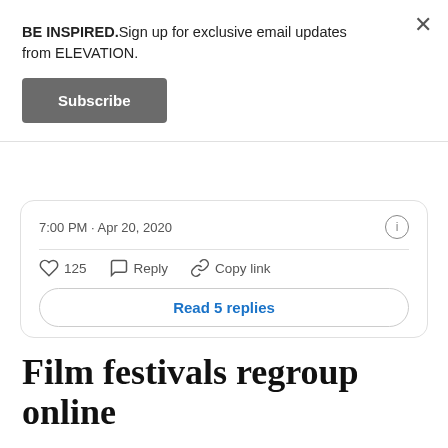BE INSPIRED.Sign up for exclusive email updates from ELEVATION.
Subscribe
7:00 PM · Apr 20, 2020
125  Reply  Copy link
Read 5 replies
Film festivals regroup online
ELEVATION previously reported that the ultra-popular Austin-based multimedia festival known as SXSW would partner with Amazon to release its